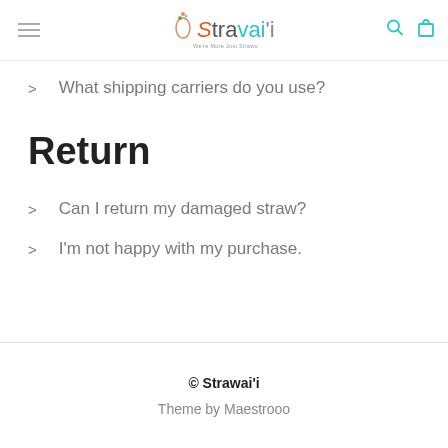Stravai'i — We're More Just Straws [navigation bar with logo]
> What shipping carriers do you use?
Return
> Can I return my damaged straw?
> I'm not happy with my purchase.
© Strawai'i
Theme by Maestrooo